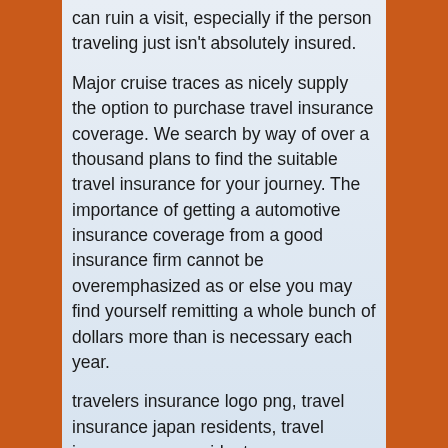can ruin a visit, especially if the person traveling just isn't absolutely insured.
Major cruise traces as nicely supply the option to purchase travel insurance coverage. We search by way of over a thousand plans to find the suitable travel insurance for your journey. The importance of getting a automotive insurance coverage from a good insurance firm cannot be overemphasized as or else you may find yourself remitting a whole bunch of dollars more than is necessary each year.
travelers insurance logo png, travel insurance japan residents, travel insurance usa resident
Journey life insurance coverage is part of a whole traveler's insurance coverage bundle, which is something that it is best to have if you're occurring a journey overseas. It makes good sense to purchase some type of protection for medical emergencies, regardless of how proficient you're in sports. The most effective time to purchase travel insurance is as quickly as possible earlier than you go in your trip or vacation. When reviewing the journey insurance provides from totally different insurers, be aware of the entire amount of trip cancellation protection obtainable with each plan.